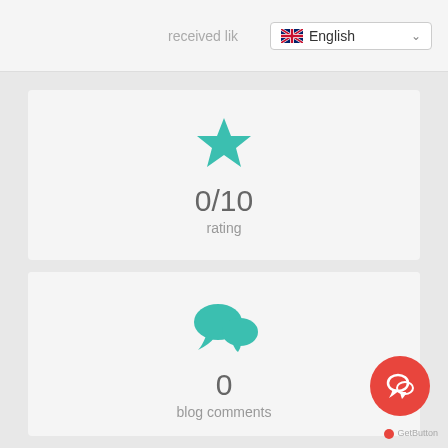received lik
English
[Figure (infographic): Teal star icon with 0/10 rating label]
0/10
rating
[Figure (infographic): Teal rounded square with pencil/edit icon]
0
blog posts
[Figure (infographic): Teal chat bubbles icon]
0
blog comments
[Figure (infographic): Red circular FAB button with chat/message icon]
GetButton